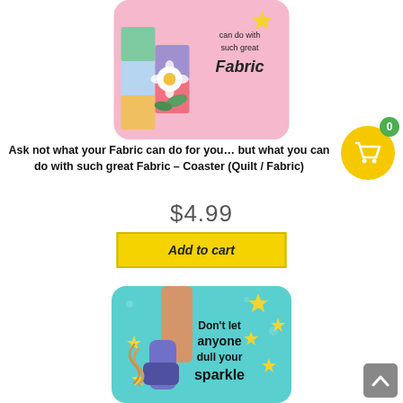[Figure (illustration): Colorful coaster with quilting fabric illustration and text 'can do with such great Fabric']
Ask not what your Fabric can do for you… but what you can do with such great Fabric – Coaster (Quilt / Fabric)
$4.99
Add to cart
[Figure (illustration): Colorful coaster with cowboy boots and stars, text 'Don't let anyone dull your sparkle']